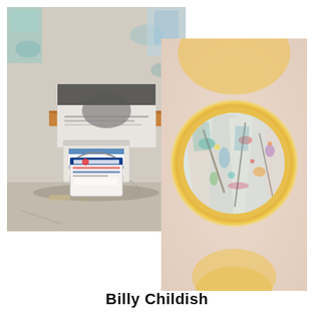[Figure (photo): Photo of stacked paint cans (including a Dulux Trade Vinyl Matt can) against a paint-splattered wall with a printed image on top, in a messy studio setting]
[Figure (photo): Close-up photo of a yellow circular object (magnifying glass or similar) through which a paint-splattered surface is visible, on a soft peachy-pink blurred background]
Billy Childish